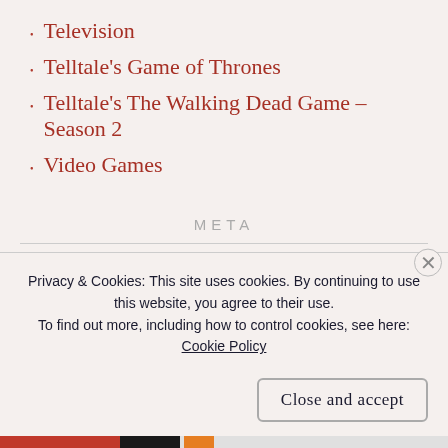Television
Telltale's Game of Thrones
Telltale's The Walking Dead Game – Season 2
Video Games
META
Register
Log in
Privacy & Cookies: This site uses cookies. By continuing to use this website, you agree to their use. To find out more, including how to control cookies, see here: Cookie Policy
Close and accept